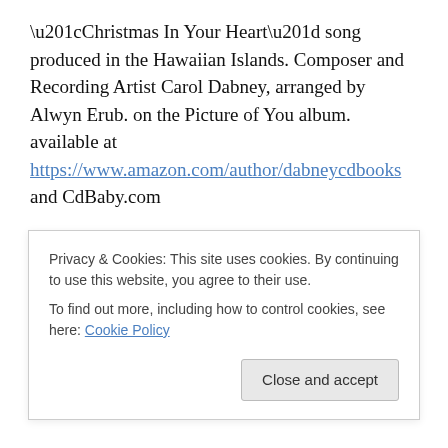“Christmas In Your Heart” song produced in the Hawaiian Islands. Composer and Recording Artist Carol Dabney, arranged by Alwyn Erub. on the Picture of You album. available at https://www.amazon.com/author/dabneycdbooks and CdBaby.com
From Janurary through the month of March 2013 I read from classroom to classroom in the Hawaiian Islands. Hale Kula at Schofield Army base in Oahu, and Kaumana Keikiland in Hilo. I read with the Read Aloud America
Privacy & Cookies: This site uses cookies. By continuing to use this website, you agree to their use.
To find out more, including how to control cookies, see here: Cookie Policy
Close and accept